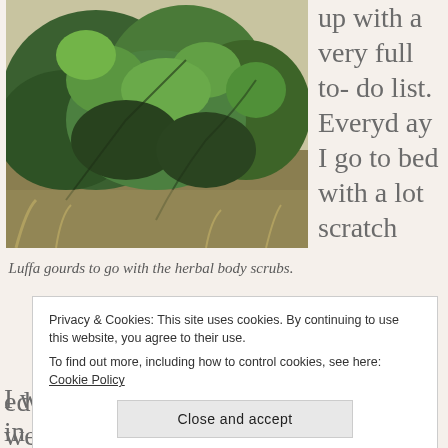[Figure (photo): Photo of luffa gourd vines growing outdoors, dense green foliage climbing over a mound with grass and vegetation visible in the background.]
Luffa gourds to go with the herbal body scrubs.
up with a very full to-do list. Everyday I go to bed with a lot scratched off the list and yet at the end of the week
Privacy & Cookies: This site uses cookies. By continuing to use this website, you agree to their use.
To find out more, including how to control cookies, see here: Cookie Policy
Close and accept
I was working at my table. Often, I am in the